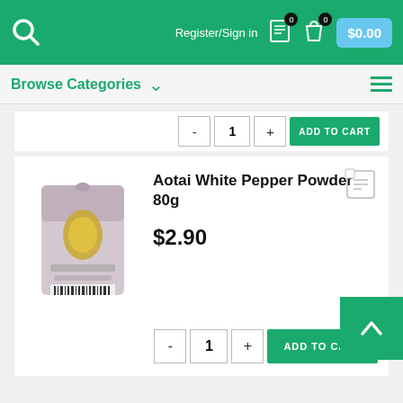Register/Sign in  $0.00
Browse Categories
[Figure (screenshot): Partial product card showing bottom controls: minus button, quantity 1, plus button, ADD TO CART button in green]
[Figure (photo): Aotai White Pepper Powder 80g product bag, pink/cream packaging with Chinese text and barcode]
Aotai White Pepper Powder 80g
$2.90
- 1 + ADD TO CART